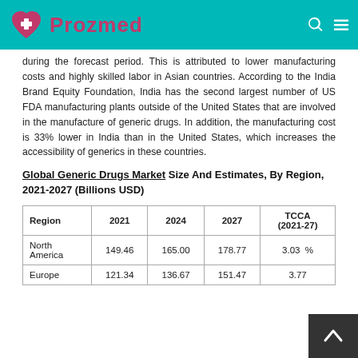Prozmed
during the forecast period. This is attributed to lower manufacturing costs and highly skilled labor in Asian countries. According to the India Brand Equity Foundation, India has the second largest number of US FDA manufacturing plants outside of the United States that are involved in the manufacture of generic drugs. In addition, the manufacturing cost is 33% lower in India than in the United States, which increases the accessibility of generics in these countries.
Global Generic Drugs Market Size And Estimates, By Region, 2021-2027 (Billions USD)
| Region | 2021 | 2024 | 2027 | TCCA (2021-27) |
| --- | --- | --- | --- | --- |
| North America | 149.46 | 165.00 | 178.77 | 3.03 % |
| Europe | 121.34 | 136.67 | 151.47 | 3.77 |